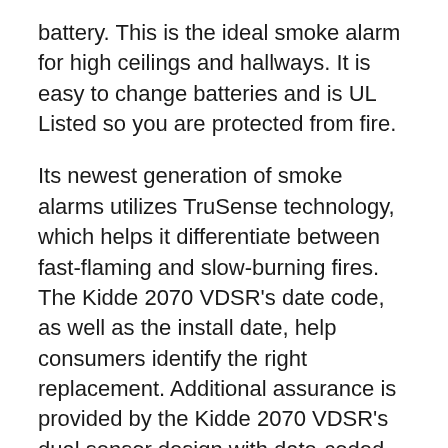battery. This is the ideal smoke alarm for high ceilings and hallways. It is easy to change batteries and is UL Listed so you are protected from fire.
Its newest generation of smoke alarms utilizes TruSense technology, which helps it differentiate between fast-flaming and slow-burning fires. The Kidde 2070 VDSR's date code, as well as the install date, help consumers identify the right replacement. Additional assurance is provided by the Kidde 2070 VDSR's dual sensor design with date-coded label. The yellow cap on the alarm will reduce the detection of the smoke alarm.
About from Kidde...